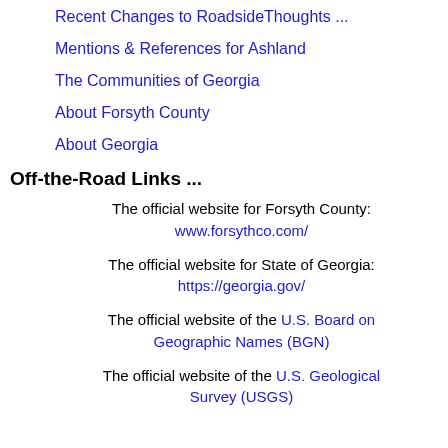Recent Changes to RoadsideThoughts ...
Mentions & References for Ashland
The Communities of Georgia
About Forsyth County
About Georgia
Off-the-Road Links ...
The official website for Forsyth County: www.forsythco.com/
The official website for State of Georgia: https://georgia.gov/
The official website of the U.S. Board on Geographic Names (BGN)
The official website of the U.S. Geological Survey (USGS)